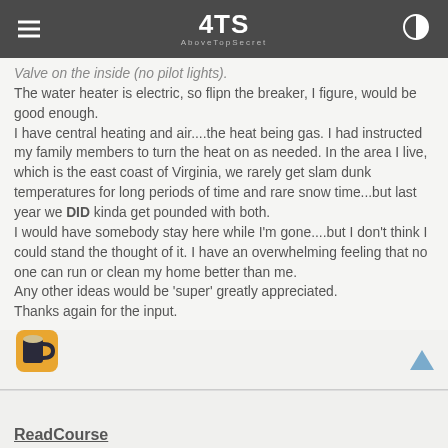ATS AboveTopSecret
Valve on the inside (no pilot lights). The water heater is electric, so flipn the breaker, I figure, would be good enough. I have central heating and air....the heat being gas. I had instructed my family members to turn the heat on as needed. In the area I live, which is the east coast of Virginia, we rarely get slam dunk temperatures for long periods of time and rare snow time...but last year we DID kinda get pounded with both. I would have somebody stay here while I'm gone....but I don't think I could stand the thought of it. I have an overwhelming feeling that no one can run or clean my home better than me. Any other ideas would be 'super' greatly appreciated. Thanks again for the input.
[Figure (illustration): Beer mug emoji icon in orange/gold color]
ReadCourse